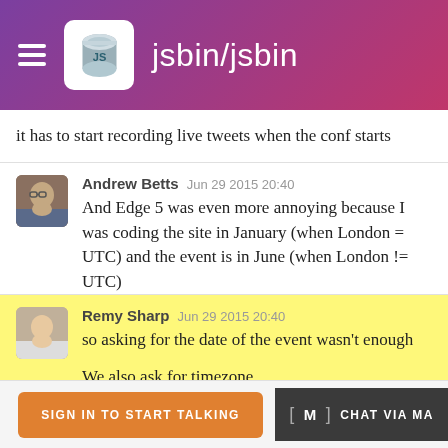jsbin/jsbin
it has to start recording live tweets when the conf starts
Andrew Betts  Jun 29 2015 20:40
And Edge 5 was even more annoying because I was coding the site in January (when London = UTC) and the event is in June (when London != UTC)
Remy Sharp  Jun 29 2015 20:40
so asking for the date of the event wasn't enough

We also ask for timezone

which gets hazy around BST time!

Yep. That.

So, if you log out/back in - it's all okay?
SIGN IN TO START TALKING  [m] CHAT VIA MA